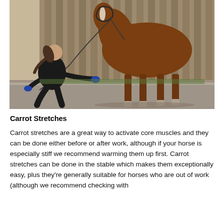[Figure (photo): A woman in black clothing crouching down and offering something (likely a carrot) to a brown horse with a white blaze, standing near a wooden fence on a gravel surface. The woman holds a lead rope and appears to be guiding the horse to stretch its neck downward.]
Carrot Stretches
Carrot stretches are a great way to activate core muscles and they can be done either before or after work, although if your horse is especially stiff we recommend warming them up first. Carrot stretches can be done in the stable which makes them exceptionally easy, plus they’re generally suitable for horses who are out of work (although we recommend checking with